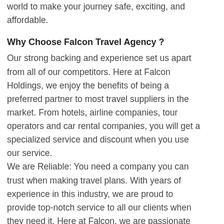world to make your journey safe, exciting, and affordable.
Why Choose Falcon Travel Agency ?
Our strong backing and experience set us apart from all of our competitors. Here at Falcon Holdings, we enjoy the benefits of being a preferred partner to most travel suppliers in the market. From hotels, airline companies, tour operators and car rental companies, you will get a specialized service and discount when you use our service.
We are Reliable: You need a company you can trust when making travel plans. With years of experience in this industry, we are proud to provide top-notch service to all our clients when they need it. Here at Falcon, we are passionate about creating a WOW! customer experience.
Experience: We are subsidiary of Falcon Group of Companies founded in Durban by Ridhwaan Mayet. Our years of experience in the industry ensured that